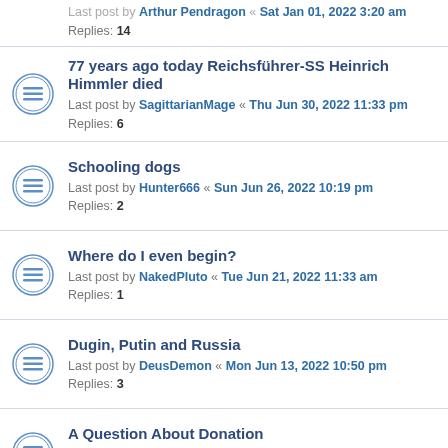Last post by Arthur Pendragon « Sat Jan 01, 2022 3:20 am
Replies: 14
77 years ago today Reichsführer-SS Heinrich Himmler died
Last post by SagittarianMage « Thu Jun 30, 2022 11:33 pm
Replies: 6
Schooling dogs
Last post by Hunter666 « Sun Jun 26, 2022 10:19 pm
Replies: 2
Where do I even begin?
Last post by NakedPluto « Tue Jun 21, 2022 11:33 am
Replies: 1
Dugin, Putin and Russia
Last post by DeusDemon « Mon Jun 13, 2022 10:50 pm
Replies: 3
A Question About Donation
Last post by Henu the Great « Fri Jun 10, 2022 11:56 am
Replies: 3